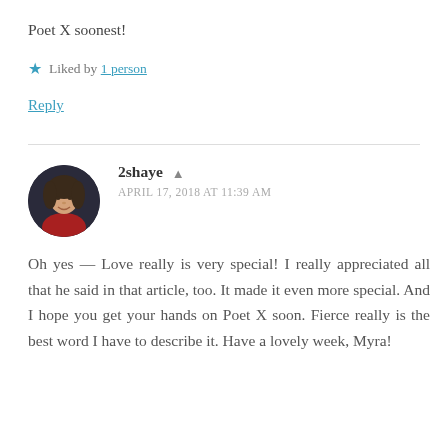Poet X soonest!
Liked by 1 person
Reply
2shaye  APRIL 17, 2018 AT 11:39 AM
Oh yes — Love really is very special! I really appreciated all that he said in that article, too. It made it even more special. And I hope you get your hands on Poet X soon. Fierce really is the best word I have to describe it. Have a lovely week, Myra!